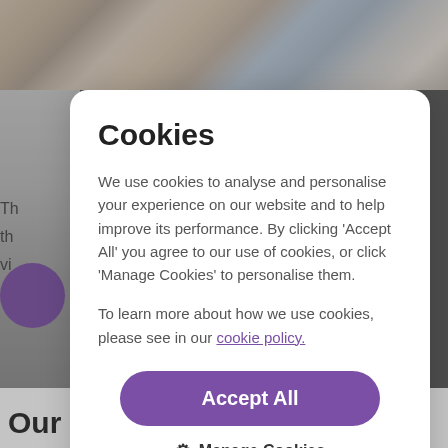[Figure (photo): Background showing a crowd of people at an outdoor event, partially obscured by the cookie consent modal overlay]
Cookies
We use cookies to analyse and personalise your experience on our website and to help improve its performance. By clicking ‘Accept All’ you agree to our use of cookies, or click ‘Manage Cookies’ to personalise them.
To learn more about how we use cookies, please see in our cookie policy.
Accept All
⚙ Manage Cookies
Our developments